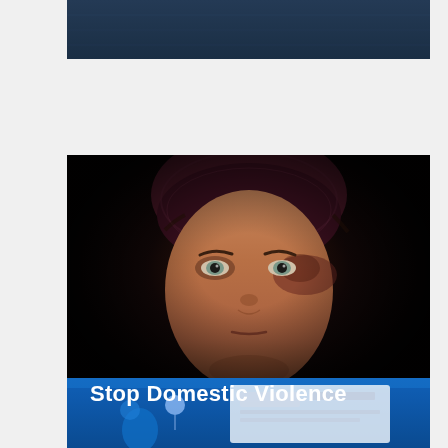[Figure (photo): Partial top image showing dark blue/navy background, cropped from a webpage or document.]
[Figure (photo): Close-up portrait of a woman wearing a dark burgundy/maroon head covering against a dark background. The image has text overlay reading 'Stop Domestic Violence' in white bold font at the lower left. The woman appears to have facial bruising suggesting domestic violence awareness campaign.]
[Figure (screenshot): Partial bottom screenshot showing a NSW Government Community Portal webpage with blue background header, laptop display, and people outdoors with balloons.]